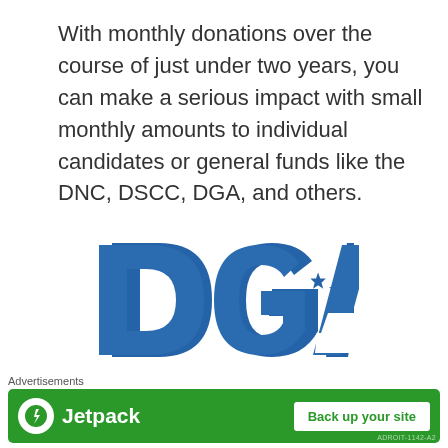With monthly donations over the course of just under two years, you can make a serious impact with small monthly amounts to individual candidates or general funds like the DNC, DSCC, DGA, and others.
[Figure (logo): Democratic Governors Association (DGA) logo — large bold blue letters 'DGA' with a star inside the A, and text 'DEMOCRATIC GOVERNORS ASSOCIATION' below in blue spaced capitals]
[Figure (logo): Small blue icon resembling two arch/headphone shapes at bottom center of page]
Advertisements
[Figure (screenshot): Jetpack advertisement banner — green background, Jetpack logo with lightning bolt icon, text 'Jetpack', white button 'Back up your site']